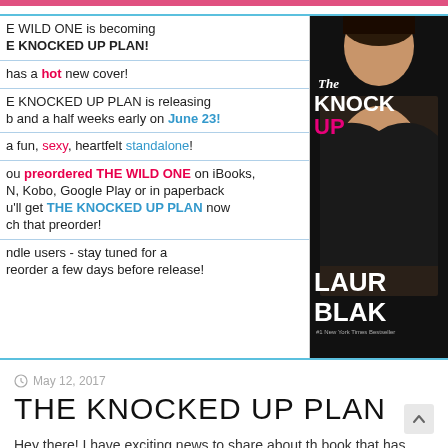E WILD ONE is becoming
E KNOCKED UP PLAN!
has a hot new cover!
E KNOCKED UP PLAN is releasing
b and a half weeks early on June 23!
a fun, sexy, heartfelt standalone!
ou preordered THE WILD ONE on iBooks,
N, Kobo, Google Play or in paperback
u'll get THE KNOCKED UP PLAN now
ch that preorder!
ndle users - stay tuned for a
reorder a few days before release!
[Figure (photo): Book cover of 'The Knocked Up Plan' by Lauren Blake, showing a shirtless man in a leather jacket]
May 12, 2017
THE KNOCKED UP PLAN
Hey there! I have exciting news to share about th book that has been known as THE WILD ONE. You guys know that I like to [...]